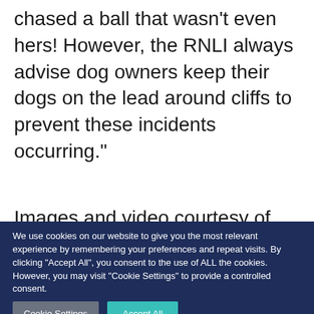chased a ball that wasn't even hers! However, the RNLI always advise dog owners keep their dogs on the lead around cliffs to prevent these incidents occurring."
Images and video courtesy of RNLI / Arbroath RNLI
[Figure (illustration): Advertisement banner with dark navy background showing text 'WHERE WILL YOU ROAM?' with ROAM in orange, alongside an image of a sailboat and 'ROAM' branding on the right]
We use cookies on our website to give you the most relevant experience by remembering your preferences and repeat visits. By clicking “Accept All”, you consent to the use of ALL the cookies. However, you may visit "Cookie Settings" to provide a controlled consent.